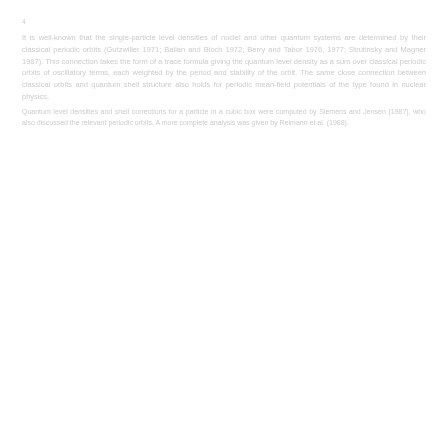4
It is well-known that the single-particle level densities of nuclei and other quantum systems are determined by their classical periodic orbits (Gutzwiller 1971; Balian and Bloch 1972; Berry and Tabor 1976, 1977; Strutinsky and Magner 1987). This connection takes the form of a trace formula giving the quantum level density as a sum over classical periodic orbits of oscillatory terms, each weighted by the period and stability of the orbit. The same close connection between classical orbits and quantum shell structure also holds for periodic mean-field potentials of the type found in nuclear physics.
Quantum level densities and shell corrections for a particle in a cubic box were computed by Siemens and Jensen (1987), who also discussed the relevant periodic orbits. A more complete analysis was given by Reimann et al. (1988).